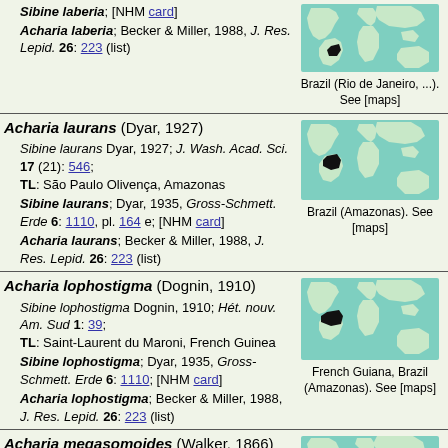Sibine laberia; [NHM card] Acharia laberia; Becker & Miller, 1988, J. Res. Lepid. 26: 223 (list)
[Figure (map): World map showing Brazil (Rio de Janeiro) highlighted in black]
Brazil (Rio de Janeiro, ...). See [maps]
Acharia laurans (Dyar, 1927)
Sibine laurans Dyar, 1927; J. Wash. Acad. Sci. 17 (21): 546; TL: São Paulo Olivença, Amazonas
Sibine laurans; Dyar, 1935, Gross-Schmett. Erde 6: 1110, pl. 164 e; [NHM card]
Acharia laurans; Becker & Miller, 1988, J. Res. Lepid. 26: 223 (list)
[Figure (map): World map showing Brazil (Amazonas) highlighted in black]
Brazil (Amazonas). See [maps]
Acharia lophostigma (Dognin, 1910)
Sibine lophostigma Dognin, 1910; Hét. nouv. Am. Sud 1: 39; TL: Saint-Laurent du Maroni, French Guinea
Sibine lophostigma; Dyar, 1935, Gross-Schmett. Erde 6: 1110; [NHM card]
Acharia lophostigma; Becker & Miller, 1988, J. Res. Lepid. 26: 223 (list)
[Figure (map): World map showing French Guiana and Brazil (Amazonas) highlighted in black]
French Guiana, Brazil (Amazonas). See [maps]
Acharia megasomoides (Walker, 1866)
Eupalia megasomoides Walker,